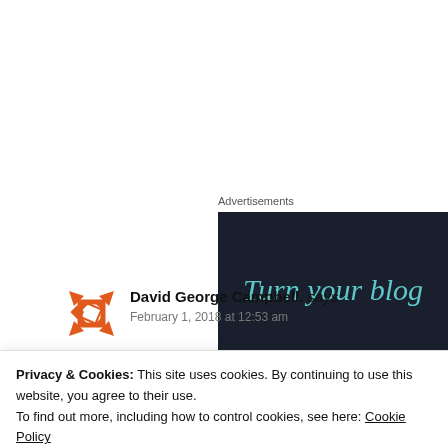Advertisements
[Figure (screenshot): Dark navy advertisement banner with teal italic text reading 'Turn your blog']
[Figure (logo): Orange geometric star/asterisk avatar icon for David George Campbell]
David George Campbell. says:
February 1, 2018 at 12:53 am
You are the only scientist I support. Thank you for you
Like
Privacy & Cookies: This site uses cookies. By continuing to use this website, you agree to their use.
To find out more, including how to control cookies, see here: Cookie Policy
Close and accept